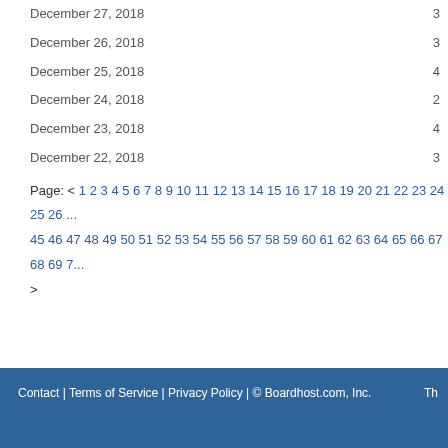December 27, 2018   3
December 26, 2018   3
December 25, 2018   4
December 24, 2018   2
December 23, 2018   4
December 22, 2018   3
Page: < 1 2 3 4 5 6 7 8 9 10 11 12 13 14 15 16 17 18 19 20 21 22 23 24 25 26 ... 45 46 47 48 49 50 51 52 53 54 55 56 57 58 59 60 61 62 63 64 65 66 67 68 69 7... >
Contact | Terms of Service | Privacy Policy | © Boardhost.com, Inc.   Th